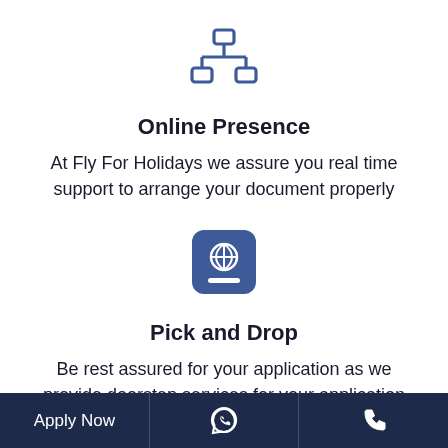[Figure (illustration): Network/hierarchy icon in blue outline style showing connected nodes]
Online Presence
At Fly For Holidays we assure you real time support to arrange your document properly
[Figure (illustration): Passport icon with globe symbol on dark blue rounded square background]
Pick and Drop
Be rest assured for your application as we provide doorstep services for your application enabling you
Apply Now | WhatsApp icon | Phone icon